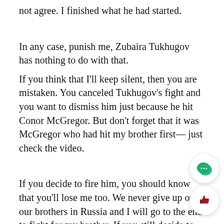not agree. I finished what he had started.
In any case, punish me, Zubaira Tukhugov has nothing to do with that.
If you think that I'll keep silent, then you are mistaken. You canceled Tukhugov's fight and you want to dismiss him just because he hit Conor McGregor. But don't forget that it was McGregor who had hit my brother first— just check the video.
If you decide to fire him, you should know that you'll lose me too. We never give up on our brothers in Russia and I will go to the end to fight for my brother. If you still decide to fire him, don't forget to send me my broken contract, otherwise I'll break...